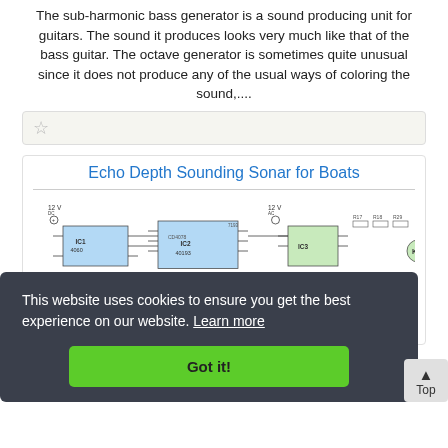The sub-harmonic bass generator is a sound producing unit for guitars. The sound it produces looks very much like that of the bass guitar. The octave generator is sometimes quite unusual since it does not produce any of the usual ways of coloring the sound,....
[Figure (other): Star/bookmark icon bar with light background]
Echo Depth Sounding Sonar for Boats
[Figure (circuit-diagram): Electronic circuit schematic for Echo Depth Sounding Sonar for Boats, showing ICs, capacitors, resistors, connectors and other components with labeled nodes and connections.]
This website uses cookies to ensure you get the best experience on our website. Learn more
Got it!